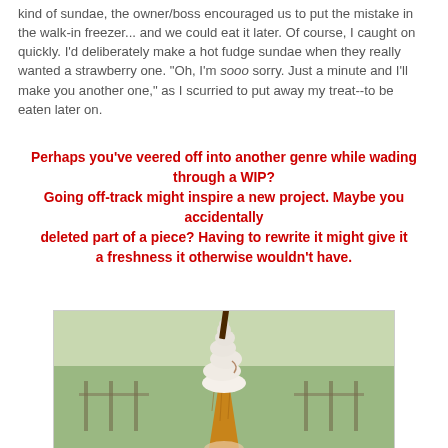kind of sundae, the owner/boss encouraged us to put the mistake in the walk-in freezer... and we could eat it later. Of course, I caught on quickly. I'd deliberately make a hot fudge sundae when they really wanted a strawberry one. "Oh, I'm sooo sorry. Just a minute and I'll make you another one," as I scurried to put away my treat--to be eaten later on.
Perhaps you've veered off into another genre while wading through a WIP? Going off-track might inspire a new project. Maybe you accidentally deleted part of a piece? Having to rewrite it might give it a freshness it otherwise wouldn't have.
[Figure (photo): Photo of a soft-serve ice cream cone with a chocolate flake, held against a blurred green outdoor background.]